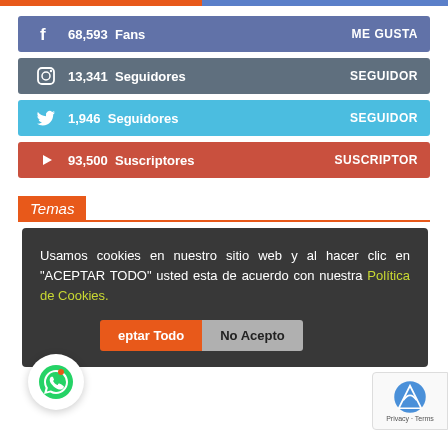[Figure (infographic): Social media widget row: Facebook 68,593 Fans - ME GUSTA]
[Figure (infographic): Social media widget row: Instagram 13,341 Seguidores - SEGUIDOR]
[Figure (infographic): Social media widget row: Twitter 1,946 Seguidores - SEGUIDOR]
[Figure (infographic): Social media widget row: YouTube 93,500 Suscriptores - SUSCRIPTOR]
Temas
Usamos cookies en nuestro sitio web y al hacer clic en "ACEPTAR TODO" usted esta de acuerdo con nuestra Política de Cookies.
Aceptar Todo | No Acepto